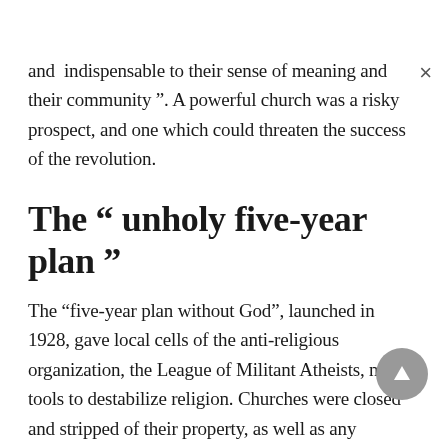and  indispensable to their sense of meaning and their community ”. A powerful church was a risky prospect, and one which could threaten the success of the revolution.
The “ unholy five-year plan ”
The “five-year plan without God”, launched in 1928, gave local cells of the anti-religious organization, the League of Militant Atheists, new tools to destabilize religion. Churches were closed and stripped of their property, as well as any educational or welfare activity that went beyond the simple liturgy.